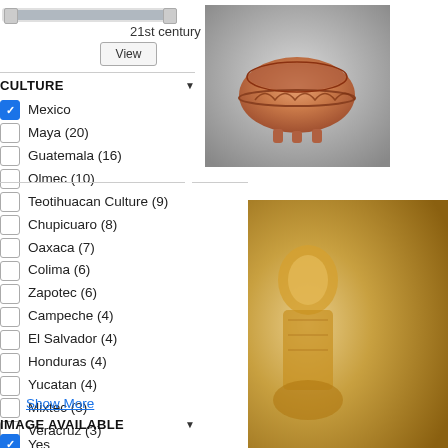[Figure (screenshot): Range slider with two thumbs showing date range ending at 21st century, with a View button below]
CULTURE
Mexico (checked)
Maya (20)
Guatemala (16)
Olmec (10)
Teotihuacan Culture (9)
Chupicuaro (8)
Oaxaca (7)
Colima (6)
Zapotec (6)
Campeche (4)
El Salvador (4)
Honduras (4)
Yucatan (4)
Mixtec (3)
Veracruz (3)
Show More
IMAGE AVAILABLE
Yes (checked)
[Figure (photo): Terracotta bowl with carved decorative figures on a grey background]
[Figure (photo): Partial view of a golden figurine on right side of page]